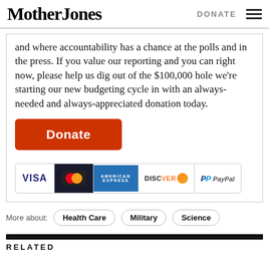Mother Jones | DONATE
and where accountability has a chance at the polls and in the press. If you value our reporting and you can right now, please help us dig out of the $100,000 hole we're starting our new budgeting cycle in with an always-needed and always-appreciated donation today.
[Figure (other): Orange Donate button followed by payment method icons: VISA, Mastercard, American Express, Discover, PayPal]
More about: Health Care | Military | Science
RELATED